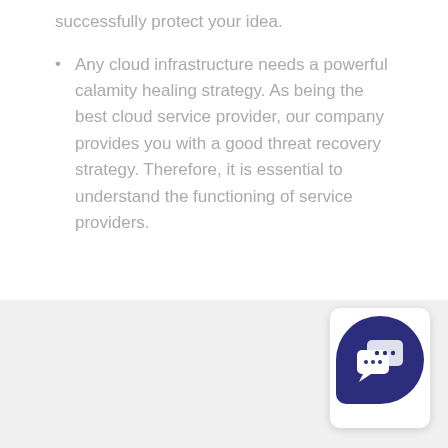successfully protect your idea.
Any cloud infrastructure needs a powerful calamity healing strategy. As being the best cloud service provider, our company provides you with a good threat recovery strategy. Therefore, it is essential to understand the functioning of service providers.
[Figure (illustration): Dark navy blue rounded speech bubble chat icon with two speech bubbles and ellipsis dots, displayed inside a white rounded rectangle widget at the bottom right of the page, on a light grey background.]